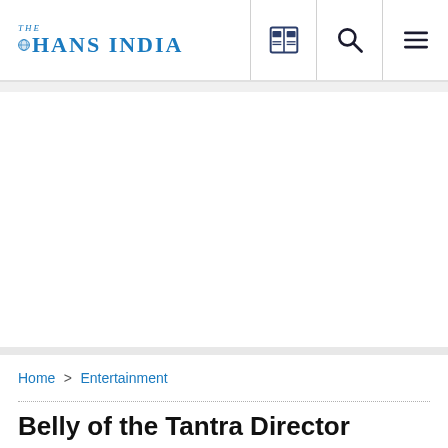THE HANS INDIA
[Figure (screenshot): Advertisement/blank white area in the middle of the page]
Home > Entertainment
Belly of the Tantra Director